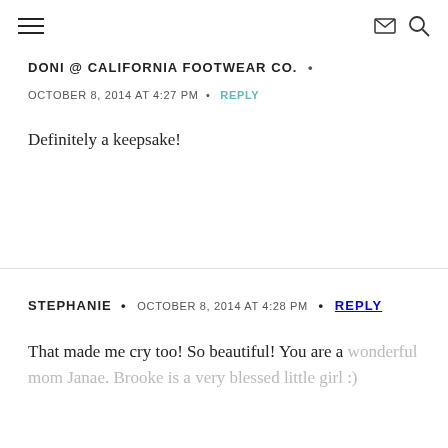≡ [envelope icon] [search icon]
DONI @ CALIFORNIA FOOTWEAR CO. •
OCTOBER 8, 2014 AT 4:27 PM • REPLY
Definitely a keepsake!
STEPHANIE • OCTOBER 8, 2014 AT 4:28 PM • REPLY
That made me cry too! So beautiful! You are a wonderful mom Janae. Brooke is a very blessed little girl :)